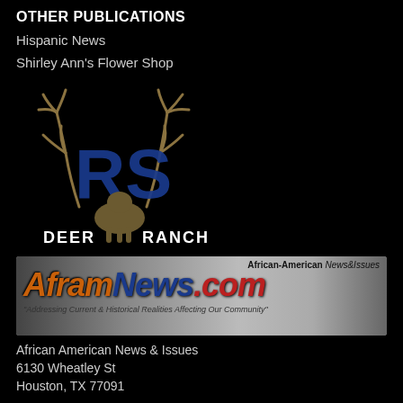OTHER PUBLICATIONS
Hispanic News
Shirley Ann's Flower Shop
[Figure (logo): RS Deer Ranch logo with deer antlers and text 'DEER RANCH' and 'Nominated Texas Yates County']
[Figure (logo): AframNews.com banner - African-American News & Issues website logo with tagline 'Addressing Current & Historical Realities Affecting Our Community']
African American News & Issues
6130 Wheatley St
Houston, TX 77091